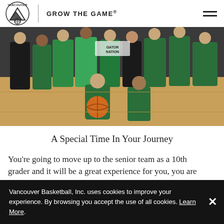VANCOUVER | GROW THE GAME®
[Figure (photo): Group photo of youth basketball players in green uniforms on a gym floor, one player kneeling with a basketball in the center.]
A Special Time In Your Journey
You're going to move up to the senior team as a 10th grader and it will be a great experience for you, you are
Vancouver Basketball, Inc. uses cookies to improve your experience. By browsing you accept the use of all cookies. Learn More.